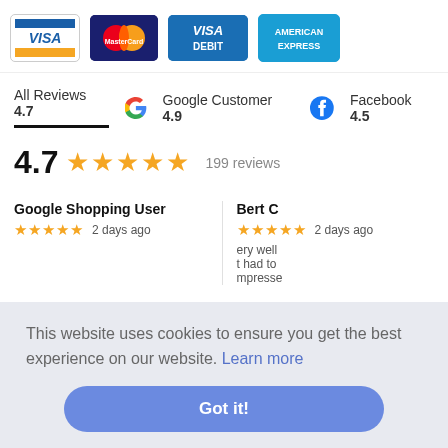[Figure (logo): Payment method logos: Visa, MasterCard, Visa Debit, American Express]
All Reviews 4.7   Google Customer 4.9   Facebook 4.5
4.7 ★★★★★ 199 reviews
Google Shopping User ★★★★★ 2 days ago
Bert C ★★★★★ 2 days ago
This website uses cookies to ensure you get the best experience on our website. Learn more
Got it!